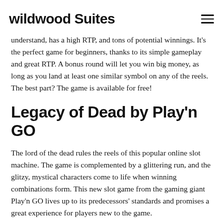wildwood Suites
understand, has a high RTP, and tons of potential winnings. It's the perfect game for beginners, thanks to its simple gameplay and great RTP. A bonus round will let you win big money, as long as you land at least one similar symbol on any of the reels. The best part? The game is available for free!
Legacy of Dead by Play'n GO
The lord of the dead rules the reels of this popular online slot machine. The game is complemented by a glittering run, and the glitzy, mystical characters come to life when winning combinations form. This new slot game from the gaming giant Play'n GO lives up to its predecessors' standards and promises a great experience for players new to the game.